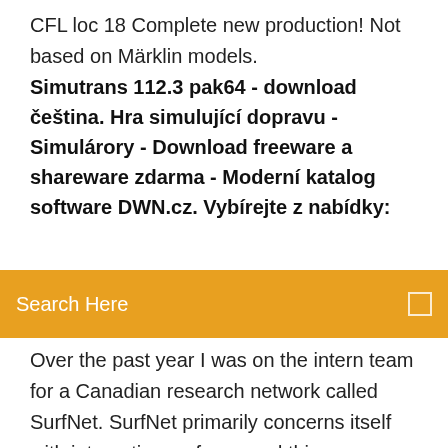CFL loc 18 Complete new production! Not based on Märklin models.
Simutrans 112.3 pak64 - download čeština. Hra simulující dopravu - Simulárory - Download freeware a shareware zdarma - Moderní katalog software DWN.cz. Vybírejte z nabídky:
[Figure (other): Orange search bar with text 'Search Here' and a small square icon on the right]
Over the past year I was on the intern team for a Canadian research network called SurfNet. SurfNet primarily concerns itself with interactive surfaces and things you can touch like a touch table or Smart boards.Technical Report Network Telescope | Malware | Computer Networkhttps://scribd.com/document/technical-report-network-telescopeTechnical Report Network Telescope - Free ebook download as PDF File (.pdf), Text File (.txt) or read book online for free. reporte SIFT is used for browsing and extracting files from a disk image. AC34612 Matrix PC has Network Informatio